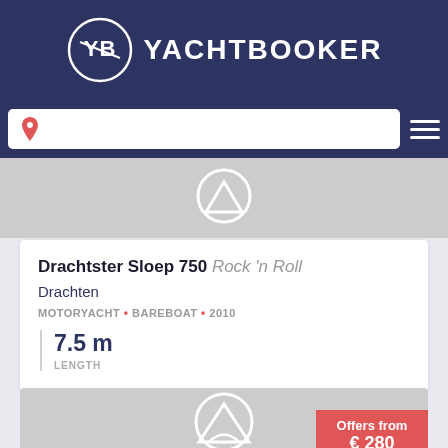YACHTBOOKER
[Figure (screenshot): Search bar with location pin icon and hamburger menu on dark navy background]
[Figure (photo): Gray placeholder image area showing top portion of yacht listing]
Drachtster Sloep 750 Rock 'n Roll
Drachten
MOTORYACHT • BAREBOAT • 2010
7.5 m
LENGTH
[Figure (photo): Gray placeholder image area for second yacht listing with Offers from € 280 badge]